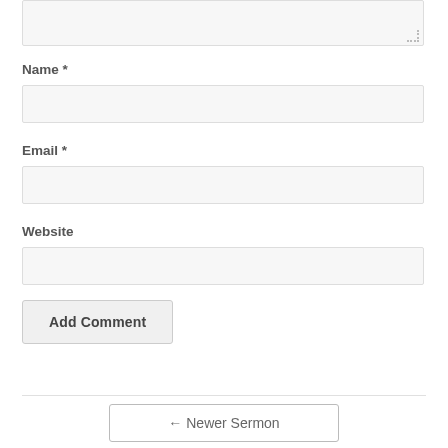[Figure (screenshot): Textarea input box with resize handle at bottom right, partially visible at top of page]
Name *
[Figure (screenshot): Empty text input field for Name]
Email *
[Figure (screenshot): Empty text input field for Email]
Website
[Figure (screenshot): Empty text input field for Website]
Add Comment
← Newer Sermon